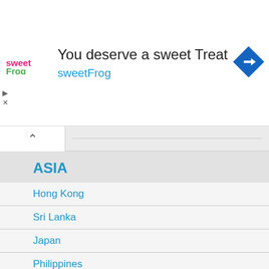[Figure (infographic): Advertisement banner for sweetFrog frozen yogurt. Shows sweetFrog logo on left, text 'You deserve a sweet Treat' and 'sweetFrog' in blue, and a blue navigation/directional diamond icon on the right.]
ASIA
Hong Kong
Sri Lanka
Japan
Philippines
WORLDWIDE
Commercial